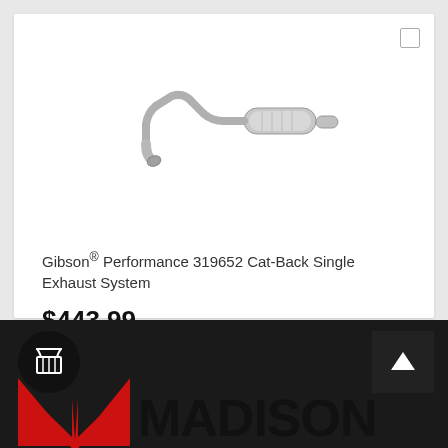[Figure (photo): Gibson Performance 319652 Cat-Back Single Exhaust System product photo showing a stainless steel exhaust pipe with muffler on white background]
Gibson® Performance 319652 Cat-Back Single Exhaust System
$443.99
[Figure (illustration): Shopping cart icon button in a square border]
[Figure (logo): Madison logo in red and black at bottom of page]